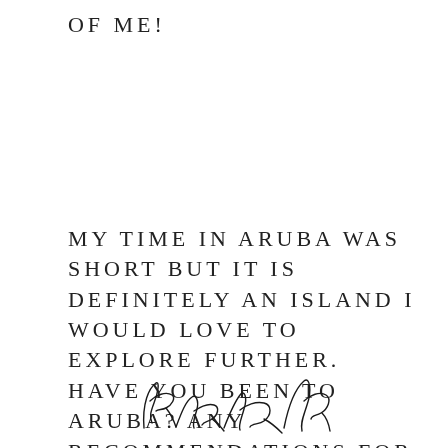OF ME!
MY TIME IN ARUBA WAS SHORT BUT IT IS DEFINITELY AN ISLAND I WOULD LOVE TO EXPLORE FURTHER. HAVE YOU BEEN TO ARUBA? ANY RECOMMENDATIONS FOR MY NEXT VISIT?
[Figure (illustration): Cursive handwritten signature, appears to read 'Katrina K' or similar]